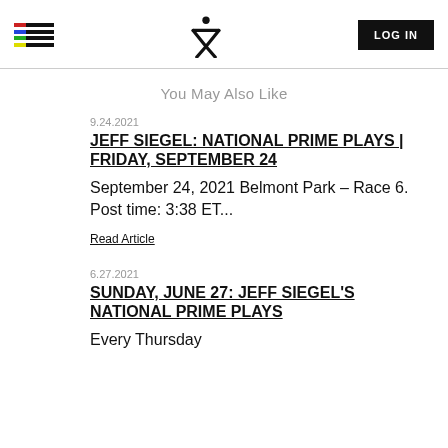Navigation header with hamburger logo, X icon, and LOG IN button
You May Also Like
9.24.2021
JEFF SIEGEL: NATIONAL PRIME PLAYS | FRIDAY, SEPTEMBER 24
September 24, 2021 Belmont Park – Race 6. Post time: 3:38 ET...
Read Article
6.27.2021
SUNDAY, JUNE 27: JEFF SIEGEL'S NATIONAL PRIME PLAYS
Every Thursday